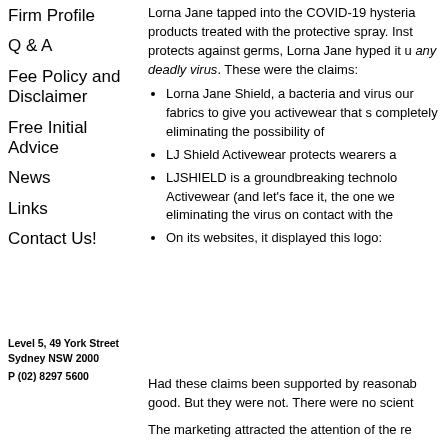Firm Profile
Q & A
Fee Policy and Disclaimer
Free Initial Advice
News
Links
Contact Us!
Lorna Jane tapped into the COVID-19 hysteria products treated with the protective spray. Inst protects against germs, Lorna Jane hyped it u any deadly virus. These were the claims:
Lorna Jane Shield, a bacteria and virus our fabrics to give you activewear that s completely eliminating the possibility of
LJ Shield Activewear protects wearers a
LJSHIELD is a groundbreaking technolo Activewear (and let's face it, the one we eliminating the virus on contact with the
On its websites, it displayed this logo:
Level 5, 49 York Street Sydney NSW 2000
P (02) 8297 5600
Had these claims been supported by reasonab good. But they were not. There were no scient
The marketing attracted the attention of the re